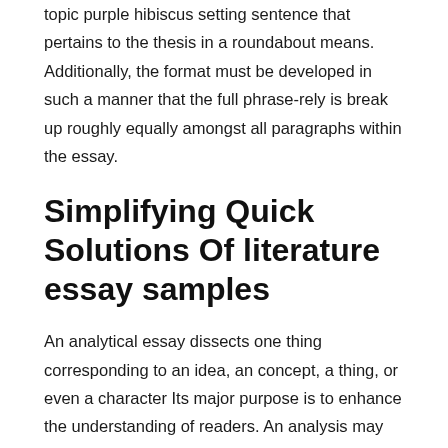topic purple hibiscus setting sentence that pertains to the thesis in a roundabout means. Additionally, the format must be developed in such a manner that the full phrase-rely is break up roughly equally amongst all paragraphs within the essay.
Simplifying Quick Solutions Of literature essay samples
An analytical essay dissects one thing corresponding to an idea, an concept, a thing, or even a character Its major purpose is to enhance the understanding of readers. An analysis may very well be finished by way of a process, definition, classification and division, or comparison Ap Literature Essay Prompts and contrast. The thing or idea is broken into several parts, via classification and division, and then analyzed. A course of is damaged into a number of